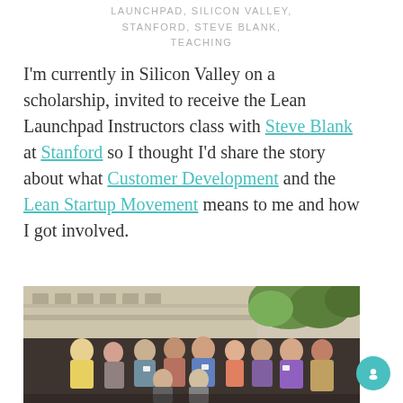LAUNCHPAD, SILICON VALLEY, STANFORD, STEVE BLANK, TEACHING
I'm currently in Silicon Valley on a scholarship, invited to receive the Lean Launchpad Instructors class with Steve Blank at Stanford so I thought I'd share the story about what Customer Development and the Lean Startup Movement means to me and how I got involved.
[Figure (photo): Group photo of approximately 12 people posing outdoors in front of a building, likely at Stanford campus. The group includes men and women of various ages, some wearing name tags.]